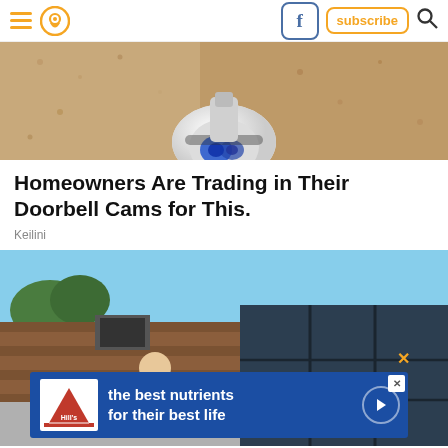Navigation header with hamburger menu, location icon, Facebook button, subscribe button, search icon
[Figure (photo): Close-up of a white security camera mounted on a textured beige/tan stucco wall, with blue markings visible on the camera lens area]
Homeowners Are Trading in Their Doorbell Cams for This.
Keilini
[Figure (photo): A man standing on or near a roof with solar panels visible to the right, blue sky background, and a shingled roof. An advertisement banner overlay from Hill's pet nutrition reads 'the best nutrients for their best life']